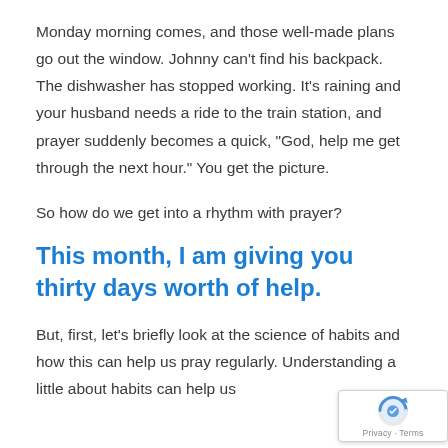Monday morning comes, and those well-made plans go out the window. Johnny can't find his backpack. The dishwasher has stopped working. It's raining and your husband needs a ride to the train station, and prayer suddenly becomes a quick, "God, help me get through the next hour." You get the picture.
So how do we get into a rhythm with prayer?
This month, I am giving you thirty days worth of help.
But, first, let's briefly look at the science of habits and how this can help us pray regularly. Understanding a little about habits can help us